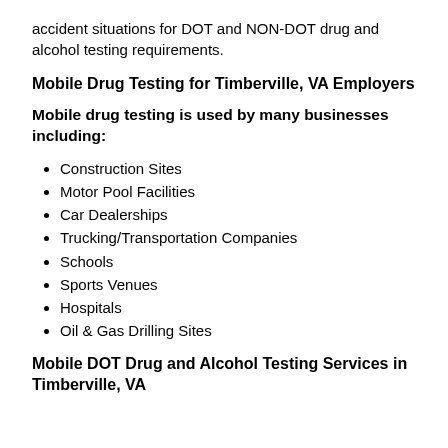accident situations for DOT and NON-DOT drug and alcohol testing requirements.
Mobile Drug Testing for Timberville, VA Employers
Mobile drug testing is used by many businesses including:
Construction Sites
Motor Pool Facilities
Car Dealerships
Trucking/Transportation Companies
Schools
Sports Venues
Hospitals
Oil & Gas Drilling Sites
Mobile DOT Drug and Alcohol Testing Services in Timberville, VA